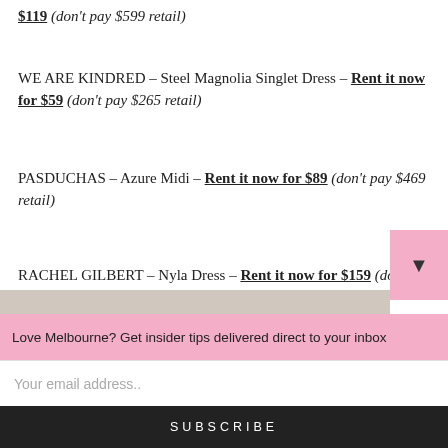$119 (don't pay $599 retail)
WE ARE KINDRED – Steel Magnolia Singlet Dress – Rent it now for $59 (don't pay $265 retail)
PASDUCHAS – Azure Midi – Rent it now for $89 (don't pay $469 retail)
RACHEL GILBERT – Nyla Dress – Rent it now for $159 (don't pay $799 retail)
[Figure (photo): Partial view of fashion items/dresses at bottom of page]
Love Melbourne? Get insider tips delivered direct to your inbox
Your email address..
SUBSCRIBE